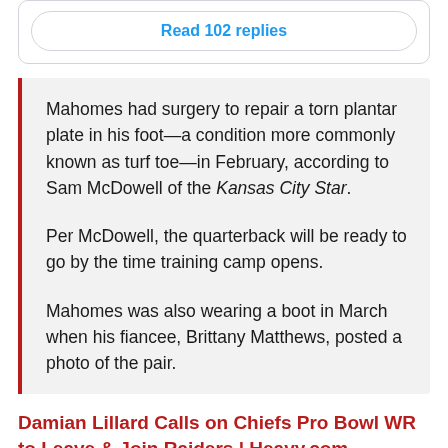Read 102 replies
Mahomes had surgery to repair a torn plantar plate in his foot—a condition more commonly known as turf toe—in February, according to Sam McDowell of the Kansas City Star.

Per McDowell, the quarterback will be ready to go by the time training camp opens.

Mahomes was also wearing a boot in March when his fiancee, Brittany Matthews, posted a photo of the pair.
Damian Lillard Calls on Chiefs Pro Bowl WR to Leave & Join Raiders | Heavy.com